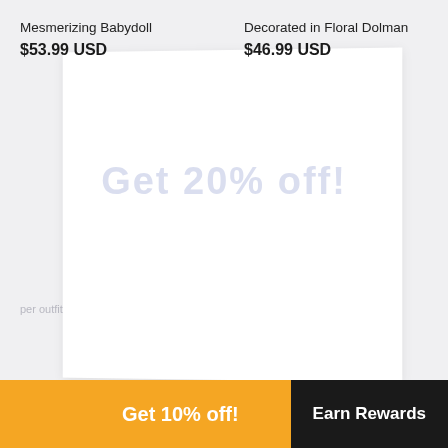Mesmerizing Babydoll
$53.99 USD
Decorated in Floral Dolman
$46.99 USD
Get 20% off!
Get 10% off!
Earn Rewards